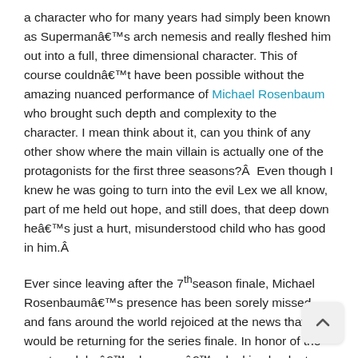a character who for many years had simply been known as Supermanâ€™s arch nemesis and really fleshed him out into a full, three dimensional character. This of course couldnâ€™t have been possible without the amazing nuanced performance of Michael Rosenbaum who brought such depth and complexity to the character. I mean think about it, can you think of any other show where the main villain is actually one of the protagonists for the first three seasons?Â  Even though I knew he was going to turn into the evil Lex we all know, part of me held out hope, and still does, that deep down heâ€™s just a hurt, misunderstood child who has good in him.Â
Ever since leaving after the 7th season finale, Michael Rosenbaumâ€™s presence has been sorely missed and fans around the world rejoiced at the news that he would be returning for the series finale. In honor of the great work heâ€™s done, weâ€™re looking back at our favorite